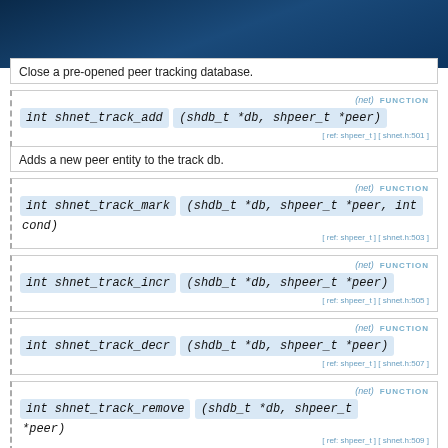Close a pre-opened peer tracking database.
int shnet_track_add (shdb_t *db, shpeer_t *peer)
[ ref: shpeer_t ] [ shnet.h:501 ]
Adds a new peer entity to the track db.
int shnet_track_mark (shdb_t *db, shpeer_t *peer, int cond)
[ ref: shpeer_t ] [ shnet.h:503 ]
int shnet_track_incr (shdb_t *db, shpeer_t *peer)
[ ref: shpeer_t ] [ shnet.h:505 ]
int shnet_track_decr (shdb_t *db, shpeer_t *peer)
[ ref: shpeer_t ] [ shnet.h:507 ]
int shnet_track_remove (shdb_t *db, shpeer_t *peer)
[ ref: shpeer_t ] [ shnet.h:509 ]